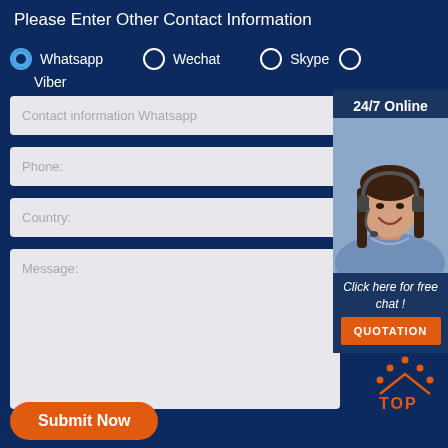Please Enter Other Contact Information
Whatsapp
Wechat
Skype
Viber
Contact information Whatsapp
Phone:
Country:
Message:
[Figure (photo): Customer service agent wearing headset, smiling, with '24/7 Online' label above and 'Click here for free chat!' text below, and QUOTATION orange button]
Submit Now